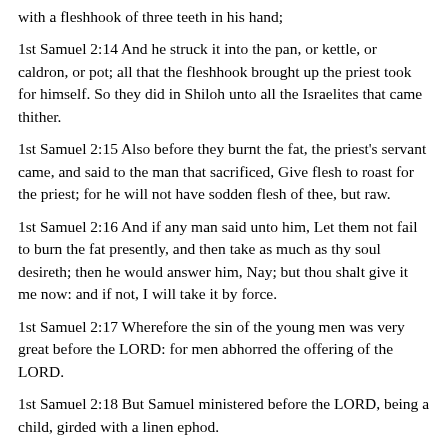with a fleshhook of three teeth in his hand;
1st Samuel 2:14 And he struck it into the pan, or kettle, or caldron, or pot; all that the fleshhook brought up the priest took for himself. So they did in Shiloh unto all the Israelites that came thither.
1st Samuel 2:15 Also before they burnt the fat, the priest's servant came, and said to the man that sacrificed, Give flesh to roast for the priest; for he will not have sodden flesh of thee, but raw.
1st Samuel 2:16 And if any man said unto him, Let them not fail to burn the fat presently, and then take as much as thy soul desireth; then he would answer him, Nay; but thou shalt give it me now: and if not, I will take it by force.
1st Samuel 2:17 Wherefore the sin of the young men was very great before the LORD: for men abhorred the offering of the LORD.
1st Samuel 2:18 But Samuel ministered before the LORD, being a child, girded with a linen ephod.
1st Samuel 2:19 Moreover his mother made him a